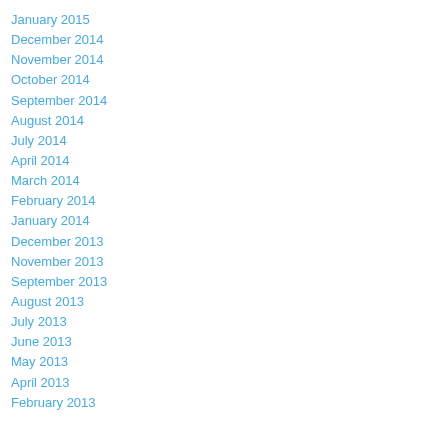January 2015
December 2014
November 2014
October 2014
September 2014
August 2014
July 2014
April 2014
March 2014
February 2014
January 2014
December 2013
November 2013
September 2013
August 2013
July 2013
June 2013
May 2013
April 2013
February 2013